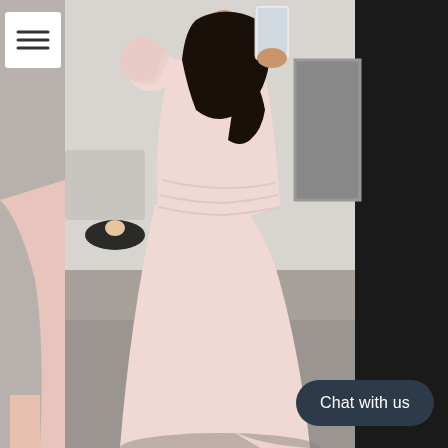[Figure (photo): A woman wearing a blush pink long formal gown with one-shoulder ruffle detail and fitted mermaid silhouette, photographed in a bridal/formal wear boutique with concrete floors and a sitting area visible in the background. The woman is taking a mirror selfie. A 'Chat with us' button overlay is visible in the bottom right, and a hamburger menu icon is visible in the top left.]